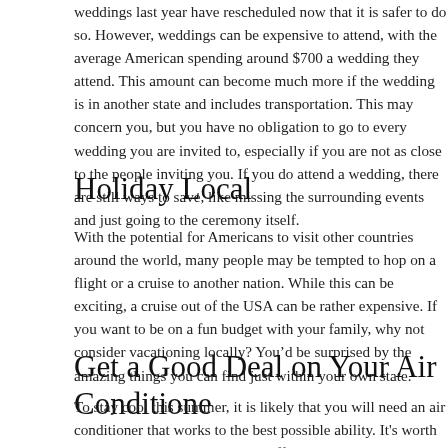weddings last year have rescheduled now that it is safer to do so. However, weddings can be expensive to attend, with the average American spending around $700 a wedding they attend. This amount can become much more if the wedding is in another state and includes transportation. This may concern you, but you have no obligation to go to every wedding you are invited to, especially if you are not as close to the people inviting you. If you do attend a wedding, there are still ways to save, like missing the surrounding events and just going to the ceremony itself.
Holiday Local
With the potential for Americans to visit other countries around the world, many people may be tempted to hop on a flight or a cruise to another nation. While this can be exciting, a cruise out of the USA can be rather expensive. If you want to be on a fun budget with your family, why not consider vacationing locally? You’d be surprised by the amazing things you can find just within your own state.
Get a Good Deal on Your Air Conditioner
To stay cool this summer, it is likely that you will need an air conditioner that works to the best possible ability. It's worth bearing in mind its cost, energy efficiency, warranty, and any high-tech features that you want to consider. If you have any problems with your air conditioner, look around for a great ac service grand prairie tx in order to find the best service for you.